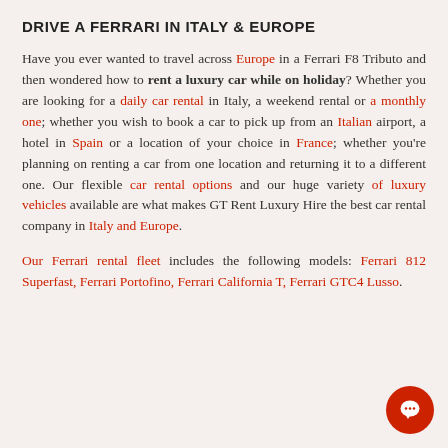DRIVE A FERRARI IN ITALY & EUROPE
Have you ever wanted to travel across Europe in a Ferrari F8 Tributo and then wondered how to rent a luxury car while on holiday? Whether you are looking for a daily car rental in Italy, a weekend rental or a monthly one; whether you wish to book a car to pick up from an Italian airport, a hotel in Spain or a location of your choice in France; whether you're planning on renting a car from one location and returning it to a different one. Our flexible car rental options and our huge variety of luxury vehicles available are what makes GT Rent Luxury Hire the best car rental company in Italy and Europe.
Our Ferrari rental fleet includes the following models: Ferrari 812 Superfast, Ferrari Portofino, Ferrari California T, Ferrari GTC4 Lusso.